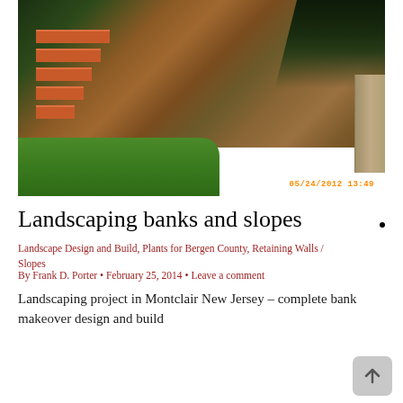[Figure (photo): Landscaped bank/slope in Montclair New Jersey showing brick retaining wall steps on the left, mulched hillside with shrubs and plants, green grass in the foreground, dark trees at top right, a concrete pillar on the right edge, and a timestamp '05/24/2012 13:49' in orange at the bottom right.]
Landscaping banks and slopes
Landscape Design and Build, Plants for Bergen County, Retaining Walls / Slopes
By Frank D. Porter • February 25, 2014 • Leave a comment
Landscaping project in Montclair New Jersey – complete bank makeover design and build